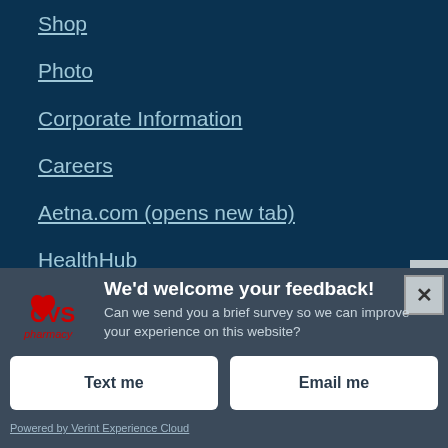Shop
Photo
Corporate Information
Careers
Aetna.com (opens new tab)
HealthHub
Optical
We'd welcome your feedback! Can we send you a brief survey so we can improve your experience on this website?
Text me
Email me
Powered by Verint Experience Cloud